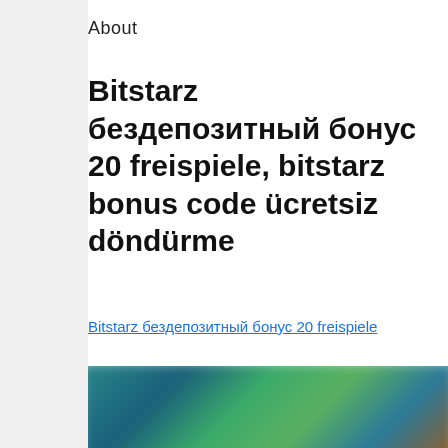About
Bitstarz бездепозитный бонус 20 freispiele, bitstarz bonus code ücretsiz döndürme
Bitstarz бездепозитный бонус 20 freispiele
[Figure (photo): Blurred screenshot of a gaming/casino website interface with colorful characters and dark background, with a blue chat button overlay]